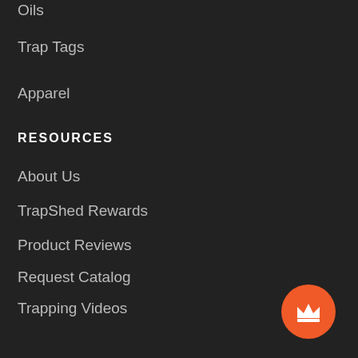Oils
Trap Tags
Apparel
RESOURCES
About Us
TrapShed Rewards
Product Reviews
Request Catalog
Trapping Videos
Trapping Associations
Trapping Regulations
Shipping & Return Policy
Gift Certificates
[Figure (illustration): Orange circular button with white crown icon]